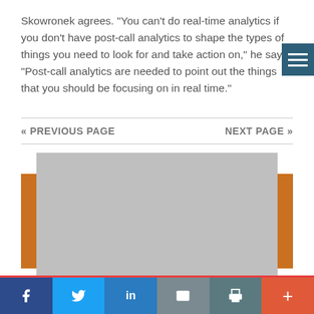Skowronek agrees. "You can't do real-time analytics if you don't have post-call analytics to shape the types of things you need to look for and take action on," he says. "Post-call analytics are needed to point out the things that you should be focusing on in real time."
[Figure (other): Navigation bar with 'PREVIOUS PAGE' on the left and 'NEXT PAGE' on the right, separated by horizontal lines]
[Figure (photo): Partially visible image placeholder with gray background and orange/brown vertical bars on left and right sides]
[Figure (other): Social media sharing bar at the bottom with Facebook, Twitter, LinkedIn, Email, Print, and Plus buttons]